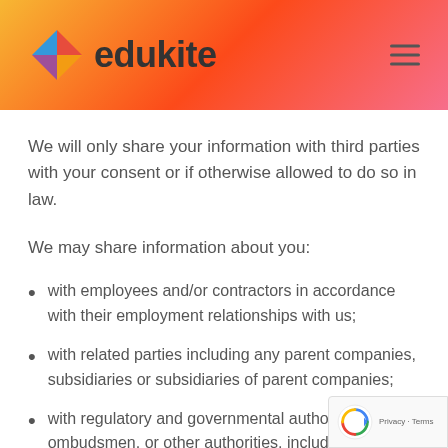edukite
We will only share your information with third parties with your consent or if otherwise allowed to do so in law.
We may share information about you:
with employees and/or contractors in accordance with their employment relationships with us;
with related parties including any parent companies, subsidiaries or subsidiaries of parent companies;
with regulatory and governmental authorities, ombudsmen, or other authorities, including tax